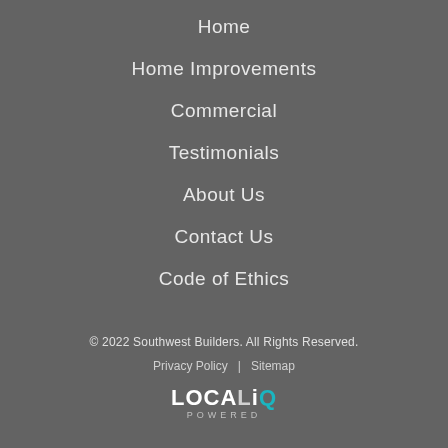Home
Home Improvements
Commercial
Testimonials
About Us
Contact Us
Code of Ethics
© 2022 Southwest Builders. All Rights Reserved.
Privacy Policy    |    Sitemap
[Figure (logo): LOCALiQ POWERED logo in white and teal]